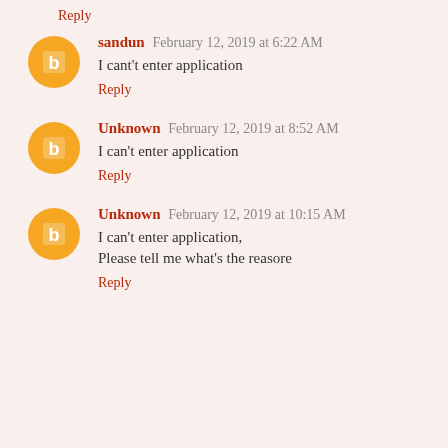Reply
sandun  February 12, 2019 at 6:22 AM
I cant't enter application
Reply
Unknown  February 12, 2019 at 8:52 AM
I can't enter application
Reply
Unknown  February 12, 2019 at 10:15 AM
I can't enter application,
Please tell me what's the reasore
Reply